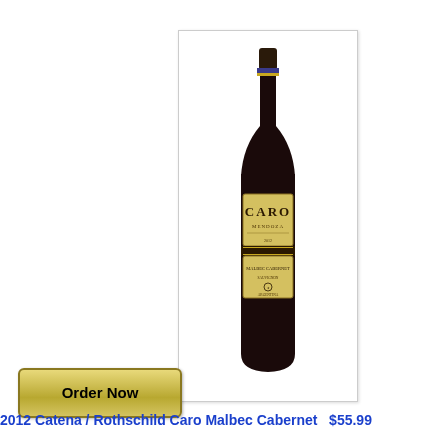[Figure (photo): Wine bottle with dark glass, gold and black label reading CARO, with a second smaller label below, dark foil capsule at top with gold/blue band]
[Figure (other): Order Now button with gold gradient background and dark border]
2012 Catena / Rothschild Caro Malbec Cabernet   $55.99